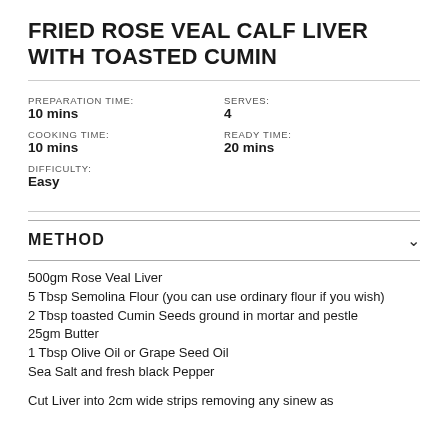FRIED ROSE VEAL CALF LIVER WITH TOASTED CUMIN
PREPARATION TIME:
10 mins
COOKING TIME:
10 mins
DIFFICULTY:
Easy
SERVES:
4
READY TIME:
20 mins
METHOD
500gm Rose Veal Liver
5 Tbsp Semolina Flour (you can use ordinary flour if you wish)
2 Tbsp toasted Cumin Seeds ground in mortar and pestle
25gm Butter
1 Tbsp Olive Oil or Grape Seed Oil
Sea Salt and fresh black Pepper
Cut Liver into 2cm wide strips removing any sinews